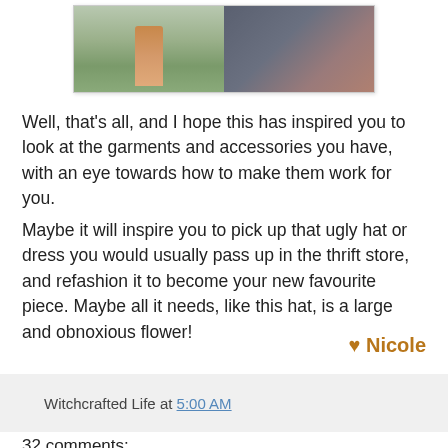[Figure (photo): Two side-by-side photographs: left shows a person standing on grass in an orange/tan outfit, right shows a close-up of a decorative hat or fabric with dark netting and beading.]
Well, that's all, and I hope this has inspired you to look at the garments and accessories you have, with an eye towards how to make them work for you.
Maybe it will inspire you to pick up that ugly hat or dress you would usually pass up in the thrift store, and refashion it to become your new favourite piece. Maybe all it needs, like this hat, is a large and obnoxious flower!
♥ Nicole
Witchcrafted Life at 5:00 AM
32 comments: